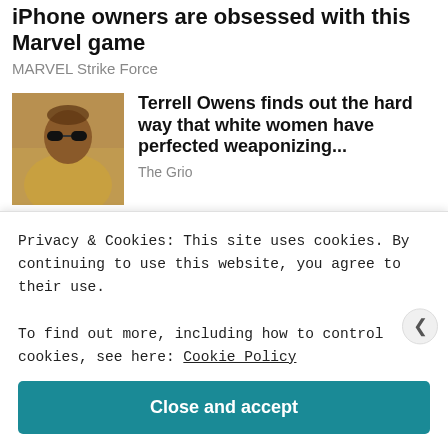iPhone owners are obsessed with this Marvel game
MARVEL Strike Force
[Figure (photo): Photo of Terrell Owens wearing sunglasses and a gold jacket]
Terrell Owens finds out the hard way that white women have perfected weaponizing...
The Grio
[Figure (photo): Photo of a blonde woman looking downward, related to Call Jane film]
'Call Jane' Trailer: Timely Abortion Drama Starring Elizabeth Banks, Wunmi...
Privacy & Cookies: This site uses cookies. By continuing to use this website, you agree to their use.
To find out more, including how to control cookies, see here: Cookie Policy
Close and accept